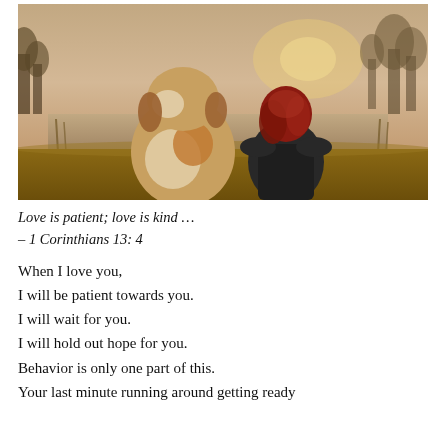[Figure (photo): A large dog (likely St. Bernard) and a red-haired woman sitting side by side on grass facing a lake at sunset, viewed from behind.]
Love is patient; love is kind …
– 1 Corinthians 13: 4

When I love you,
I will be patient towards you.
I will wait for you.
I will hold out hope for you.
Behavior is only one part of this.
Your last minute running around getting ready